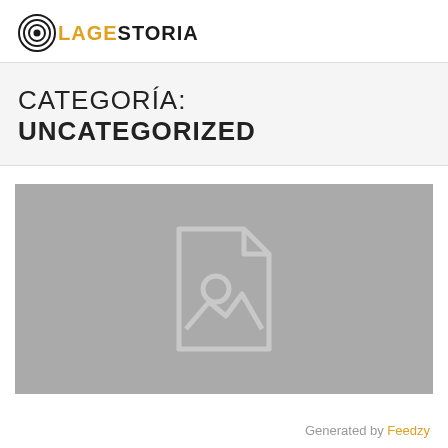LAGESTORIA
CATEGORÍA: UNCATEGORIZED
[Figure (illustration): Placeholder image with a grey background showing a document/image placeholder icon (a page with a folded corner, a circle and mountain silhouette inside)]
Generated by Feedzy